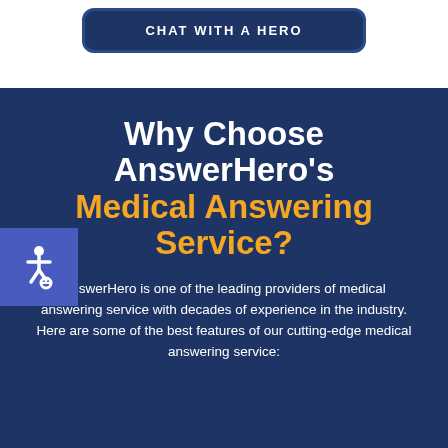CHAT WITH A HERO
Why Choose AnswerHero's Medical Answering Service?
AnswerHero is one of the leading providers of medical answering service with decades of experience in the industry. Here are some of the best features of our cutting-edge medical answering service: